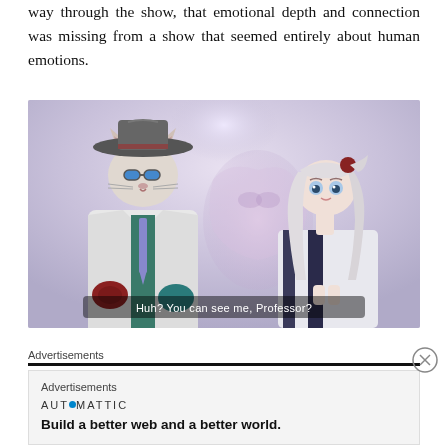way through the show, that emotional depth and connection was missing from a show that seemed entirely about human emotions.
[Figure (screenshot): Anime screenshot showing a cat character in a hat and suit next to a girl with long silver hair. Subtitle reads: Huh? You can see me, Professor?]
Huh? You can see me, Professor?
Advertisements
Advertisements
AUTOMATTIC
Build a better web and a better world.